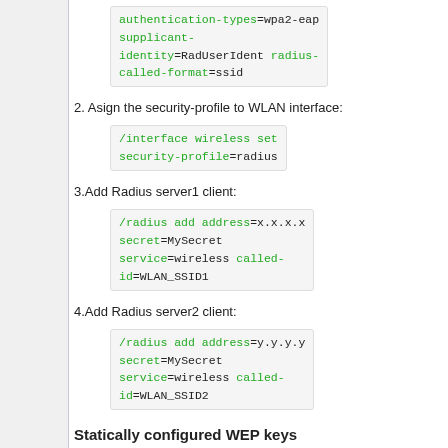authentication-types=wpa2-eap supplicant-identity=RadUserIdent radius-called-format=ssid
2. Asign the security-profile to WLAN interface:
/interface wireless set security-profile=radius
3.Add Radius server1 client:
/radius add address=x.x.x.x secret=MySecret service=wireless called-id=WLAN_SSID1
4.Add Radius server2 client:
/radius add address=y.y.y.y secret=MySecret service=wireless called-id=WLAN_SSID2
Statically configured WEP keys
Different algorithms require different length of k